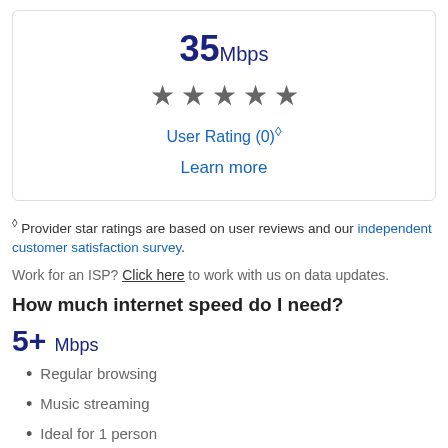35Mbps
[Figure (other): Five filled star icons in gray representing a star rating]
User Rating (0)◇
Learn more
◇ Provider star ratings are based on user reviews and our independent customer satisfaction survey.
Work for an ISP? Click here to work with us on data updates.
How much internet speed do I need?
5+ Mbps
Regular browsing
Music streaming
Ideal for 1 person